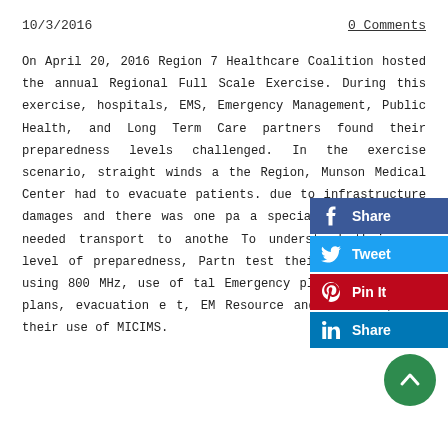10/3/2016
0 Comments
On April 20, 2016 Region 7 Healthcare Coalition hosted the annual Regional Full Scale Exercise. During this exercise, hospitals, EMS, Emergency Management, Public Health, and Long Term Care partners found their preparedness levels challenged. In the exercise scenario, straight winds affected the Region, Munson Medical Center had to evacuate patients due to infrastructure damages and there was one patient with a special pathogen that needed transport to another facility. To understand their own level of preparedness, Partners had to test their communication using 800 MHz, use of Hospital Emergency plans, evacuation plans, evacuation equipment, EM Resource and EM Track, and their use of MICIMS.